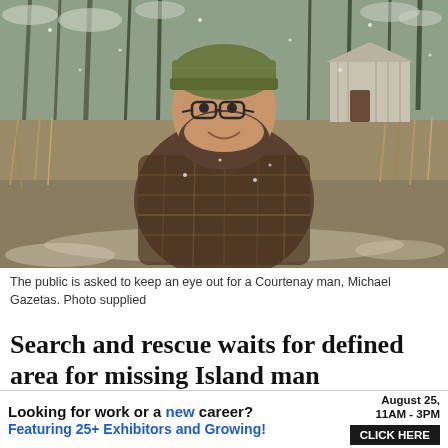[Figure (photo): A bearded man wearing glasses and a green knit beanie, dressed in a plaid flannel shirt, standing outdoors in a snowy winter landscape with dried grass, bare trees, and a small shed/structure visible in the background.]
The public is asked to keep an eye out for a Courtenay man, Michael Gazetas. Photo supplied
Search and rescue waits for defined area for missing Island man
Friends and family raise funds for search to pa...